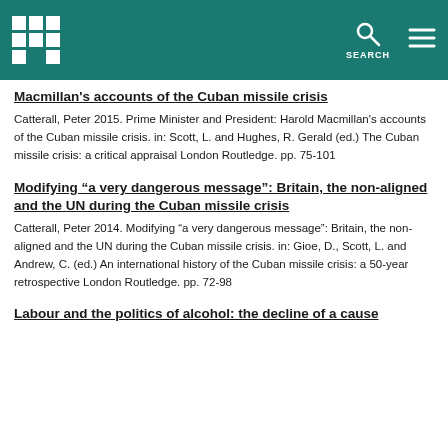SEARCH
Macmillan's accounts of the Cuban missile crisis
Catterall, Peter 2015. Prime Minister and President: Harold Macmillan's accounts of the Cuban missile crisis. in: Scott, L. and Hughes, R. Gerald (ed.) The Cuban missile crisis: a critical appraisal London Routledge. pp. 75-101
Modifying “a very dangerous message”: Britain, the non-aligned and the UN during the Cuban missile crisis
Catterall, Peter 2014. Modifying “a very dangerous message”: Britain, the non-aligned and the UN during the Cuban missile crisis. in: Gioe, D., Scott, L. and Andrew, C. (ed.) An international history of the Cuban missile crisis: a 50-year retrospective London Routledge. pp. 72-98
Labour and the politics of alcohol: the decline of a cause